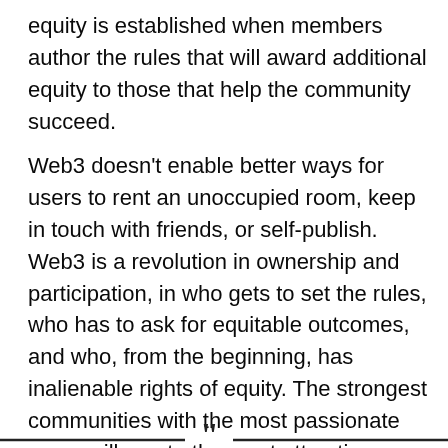equity is established when members author the rules that will award additional equity to those that help the community succeed.
Web3 doesn't enable better ways for users to rent an unoccupied room, keep in touch with friends, or self-publish. Web3 is a revolution in ownership and participation, in who gets to set the rules, who has to ask for equitable outcomes, and who, from the beginning, has inalienable rights of equity. The strongest communities with the most passionate users will create the most attractive incentives and be the winners of web3.